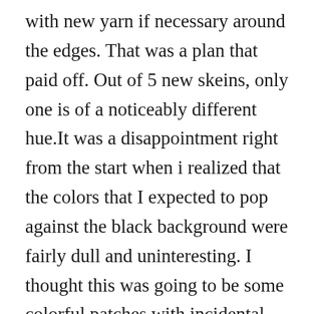with new yarn if necessary around the edges. That was a plan that paid off. Out of 5 new skeins, only one is of a noticeably different hue.It was a disappointment right from the start when i realized that the colors that I expected to pop against the black background were fairly dull and uninteresting. I thought this was going to be some colorful patches with incidental trim of small boxes at the edges, but it turned out to be a wild riot of confetti rings with non-colorful  color blocks in the center. Please congratulate me for sticking with this one to the end – 178 hours worth of work. When I ran out of yarn, that was the perfect excuse to ditch this one but instead I acted like and adult and persevered to the end. Maybe I